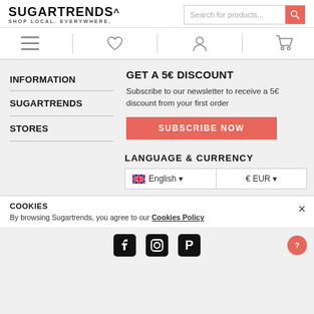SUGARTRENDS. SHOP LOCAL. EVERYWHERE.
[Figure (screenshot): Navigation icons bar with hamburger menu, heart/wishlist, user account, and shopping cart icons separated by vertical dividers]
INFORMATION
SUGARTRENDS
STORES
GET A 5€ DISCOUNT
Subscribe to our newsletter to receive a 5€ discount from your first order
SUBSCRIBE NOW
LANGUAGE & CURRENCY
English  € EUR
COOKIES
By browsing Sugartrends, you agree to our Cookies Policy
[Figure (illustration): Social media icons: Facebook, Instagram, Pinterest, and a help/question mark button]